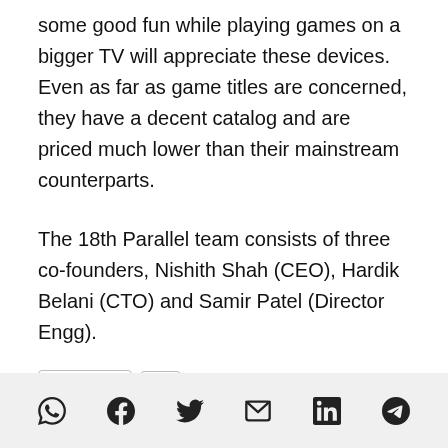some good fun while playing games on a bigger TV will appreciate these devices. Even as far as game titles are concerned, they have a decent catalog and are priced much lower than their mainstream counterparts.
The 18th Parallel team consists of three co-founders, Nishith Shah (CEO), Hardik Belani (CTO) and Samir Patel (Director Engg).
[Figure (other): Upvote button with thumbs-up icon and a downvote/comment button with thumbs-down icon]
Social share icons: WhatsApp, Facebook, Twitter, Email, LinkedIn, Telegram